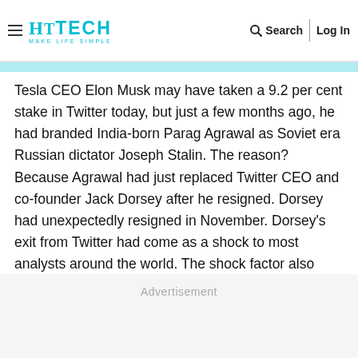HT TECH — MAKE LIFE SIMPLE | Search | Log In
Tesla CEO Elon Musk may have taken a 9.2 per cent stake in Twitter today, but just a few months ago, he had branded India-born Parag Agrawal as Soviet era Russian dictator Joseph Stalin. The reason? Because Agrawal had just replaced Twitter CEO and co-founder Jack Dorsey after he resigned. Dorsey had unexpectedly resigned in November. Dorsey's exit from Twitter had come as a shock to most analysts around the world. The shock factor also spanned Agrawal, who became the new CEO of Twitter, much to the surprise of many.
Advertisement